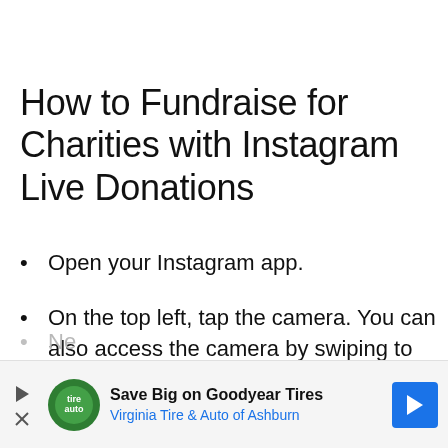How to Fundraise for Charities with Instagram Live Donations
Open your Instagram app.
On the top left, tap the camera. You can also access the camera by swiping to the right from your Feed.
At the bottom of the screen, tap Live.
Ne…
Ch… …ort
[Figure (infographic): Advertisement banner: Save Big on Goodyear Tires — Virginia Tire & Auto of Ashburn, with logo, play button, X button, and blue arrow icon]